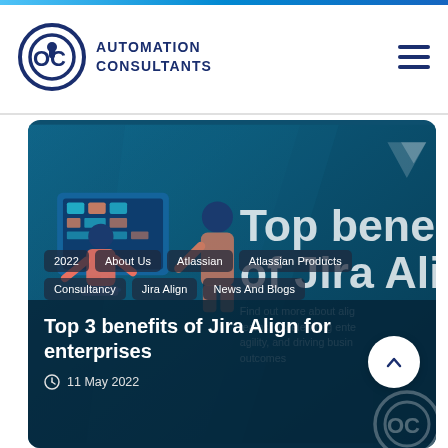AUTOMATION CONSULTANTS
[Figure (screenshot): Hero banner for blog post about Jira Align, showing two illustrated workers at screens on a teal/dark blue background, with large bold text 'Top benefits of Jira Align' partially visible on the right side]
2022
About Us
Atlassian
Atlassian Products
Consultancy
Jira Align
News And Blogs
Top 3 benefits of Jira Align for enterprises
11 May 2022